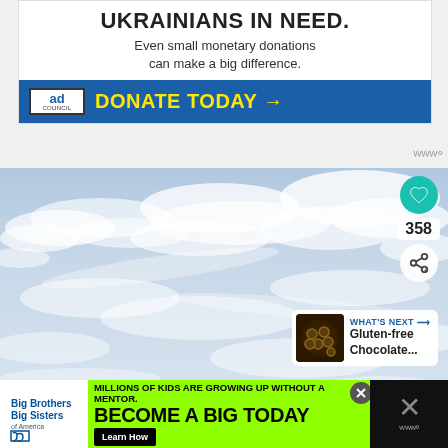[Figure (infographic): Ad Council advertisement for Ukrainian donations: 'UKRAINIANS IN NEED. Even small monetary donations can make a big difference.' with blue DONATE TODAY button]
[Figure (photo): Sky with blue background and scattered white clouds]
[Figure (infographic): Big Brothers Big Sisters advertisement: 'MILLIONS OF KIDS ARE GROWING UP WITHOUT A MENTOR. BECOME A BIG TODAY' with Learn How button on green background]